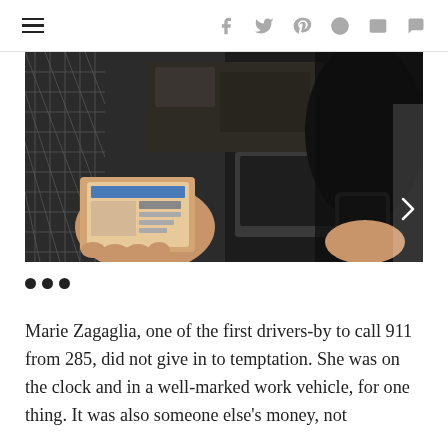≡  f  𝕿  𝗽  𝗿  ✉  💬
[Figure (photo): Photograph taken from inside a cluttered vehicle showing a person holding up a driver's license or ID card, with another person holding a phone visible on the right, and vehicle interior debris in the background.]
•••
Marie Zagaglia, one of the first drivers-by to call 911 from 285, did not give in to temptation. She was on the clock and in a well-marked work vehicle, for one thing. It was also someone else's money, not